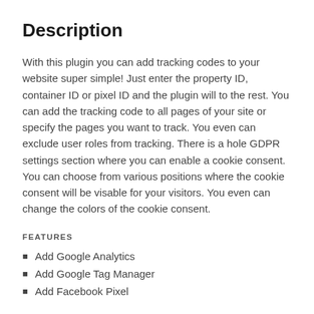Description
With this plugin you can add tracking codes to your website super simple! Just enter the property ID, container ID or pixel ID and the plugin will to the rest. You can add the tracking code to all pages of your site or specify the pages you want to track. You even can exclude user roles from tracking. There is a hole GDPR settings section where you can enable a cookie consent. You can choose from various positions where the cookie consent will be visable for your visitors. You even can change the colors of the cookie consent.
FEATURES
Add Google Analytics
Add Google Tag Manager
Add Facebook Pixel